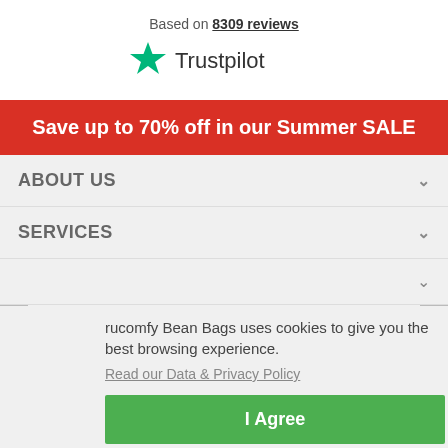Based on 8309 reviews
[Figure (logo): Trustpilot logo with green star and Trustpilot text]
Save up to 70% off in our Summer SALE
ABOUT US
SERVICES
rucomfy Bean Bags uses cookies to give you the best browsing experience.
Read our Data & Privacy Policy
I Agree
We are a British company with over 30 years of experience